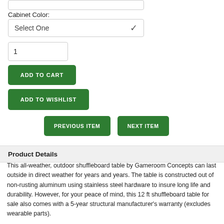Cabinet Color:
Select One
1
ADD TO CART
ADD TO WISHLIST
PREVIOUS ITEM
NEXT ITEM
Product Details
This all-weather, outdoor shuffleboard table by Gameroom Concepts can last outside in direct weather for years and years. The table is constructed out of non-rusting aluminum using stainless steel hardware to insure long life and durability. However, for your peace of mind, this 12 ft shuffleboard table for sale also comes with a 5-year structural manufacturer's warranty (excludes wearable parts).